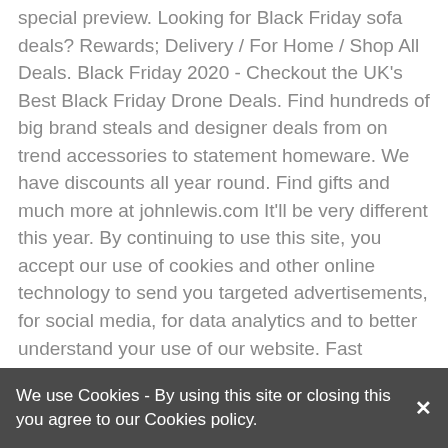special preview. Looking for Black Friday sofa deals? Rewards; Delivery / For Home / Shop All Deals. Black Friday 2020 - Checkout the UK's Best Black Friday Drone Deals. Find hundreds of big brand steals and designer deals from on trend accessories to statement homeware. We have discounts all year round. Find gifts and much more at johnlewis.com It'll be very different this year. By continuing to use this site, you accept our use of cookies and other online technology to send you targeted advertisements, for social media, for data analytics and to better understand your use of our website. Fast Delivery Deals. At ScS, our range of up to half price sofas are available in a wide variety of colours & designs & are affordable for any budget. Donâ€™t worry, weâ€™re busy working behind the scenes to get you the best deals for Black Friday 2021. It all started in America, when everyone had a holiday the day after Thanksgiving and decided to go shopping. Head to our edit of the best Cyber Monday deals for new discounts and worthwhile deals left over from last week. Home Special Offers. Black Friday slim free deals. Whether you're looking for new car deals, car finance options or
We use Cookies - By using this site or closing this you agree to our Cookies policy.